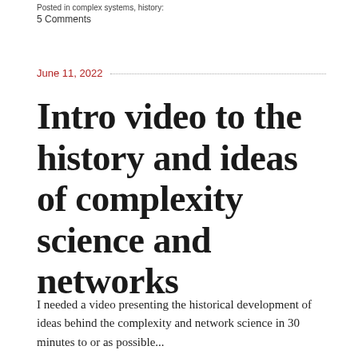Posted in complex systems, history:
5 Comments
June 11, 2022
Intro video to the history and ideas of complexity science and networks
I needed a video presenting the historical development of ideas behind the complexity and network science in 30 minutes to or as possible...